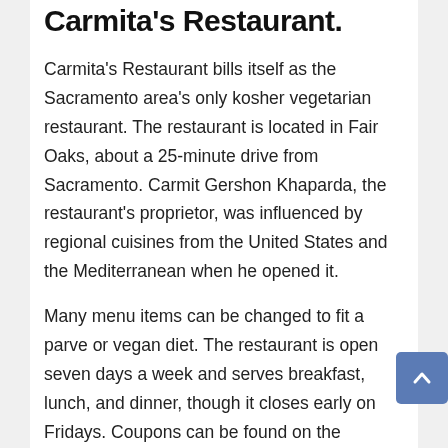Carmita's Restaurant.
Carmita's Restaurant bills itself as the Sacramento area's only kosher vegetarian restaurant. The restaurant is located in Fair Oaks, about a 25-minute drive from Sacramento. Carmit Gershon Khaparda, the restaurant's proprietor, was influenced by regional cuisines from the United States and the Mediterranean when he opened it.
Many menu items can be changed to fit a parve or vegan diet. The restaurant is open seven days a week and serves breakfast, lunch, and dinner, though it closes early on Fridays. Coupons can be found on the internet.
Home Decoration: Want Stylish Furniture At